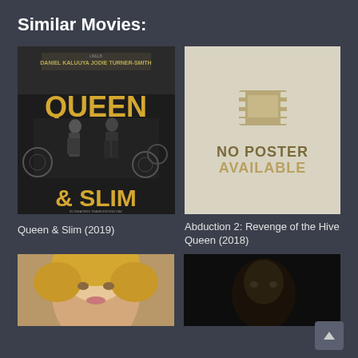Similar Movies:
[Figure (photo): Movie poster for Queen & Slim (2019) showing a black and white photo of a man and woman with bold yellow text]
Queen & Slim (2019)
[Figure (other): Placeholder image with film strip icon and text NO POSTER AVAILABLE on beige background]
Abduction 2: Revenge of the Hive Queen (2018)
[Figure (photo): Partial movie poster showing a blonde woman's face, cropped]
[Figure (photo): Partial dark movie poster, content mostly cut off]